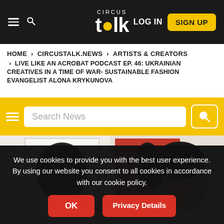CIRCUS talk — LOG IN | SIGN UP
HOME > CIRCUSTALK.NEWS > ARTISTS & CREATORS > LIVE LIKE AN ACROBAT PODCAST EP. 46: UKRAINIAN CREATIVES IN A TIME OF WAR- SUSTAINABLE FASHION EVANGELIST ALONA KRYKUNOVA
[Figure (screenshot): Search bar with hamburger menu icon, text input 'Search News', and yellow search button]
[Figure (photo): Photo showing a woman with short dark hair looking up, with artwork in background including a Darth Vader painting and an orange framed artwork]
We use cookies to provide you with the best user experience. By using our website you consent to all cookies in accordance with our cookie policy.
OK    Privacy Details